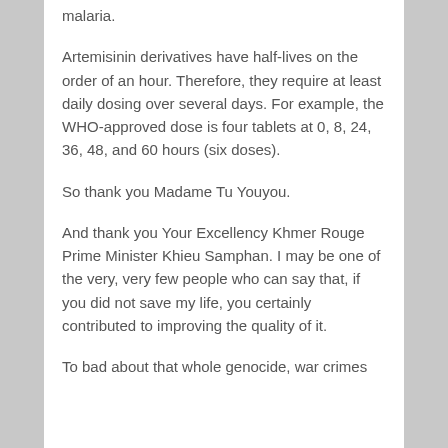malaria.
Artemisinin derivatives have half-lives on the order of an hour. Therefore, they require at least daily dosing over several days. For example, the WHO-approved dose is four tablets at 0, 8, 24, 36, 48, and 60 hours (six doses).
So thank you Madame Tu Youyou.
And thank you Your Excellency Khmer Rouge Prime Minister Khieu Samphan. I may be one of the very, very few people who can say that, if you did not save my life, you certainly contributed to improving the quality of it.
To bad about that whole genocide, war crimes